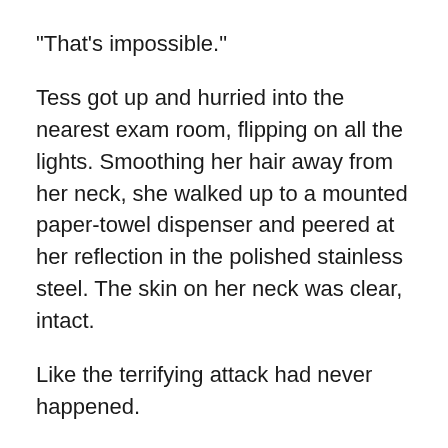"That's impossible."
Tess got up and hurried into the nearest exam room, flipping on all the lights. Smoothing her hair away from her neck, she walked up to a mounted paper-towel dispenser and peered at her reflection in the polished stainless steel. The skin on her neck was clear, intact.
Like the terrifying attack had never happened.
"No way," she told her stricken expression. "How can that be?"
Tess stepped back from the makeshift mirror, astonished.